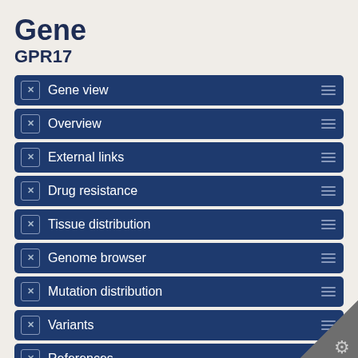Gene
GPR17
Gene view
Overview
External links
Drug resistance
Tissue distribution
Genome browser
Mutation distribution
Variants
References
Reset page
Search
Search COSMIC...